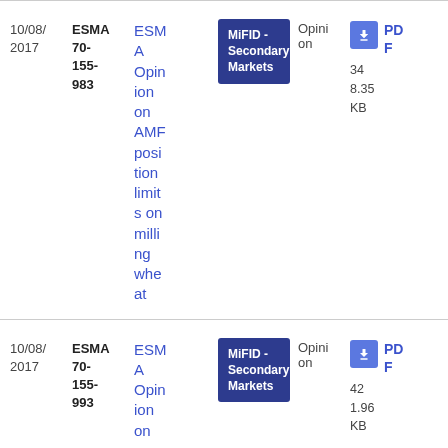| Date | Reference | Title | Tag | Type | File |
| --- | --- | --- | --- | --- | --- |
| 10/08/2017 | ESMA 70-155-983 | ESMA Opinion on AMF position limits on milling wheat | MiFID - Secondary Markets | Opinion | PDF 348.35 KB |
| 10/08/2017 | ESMA 70-155-993 | ESMA Opinion on | MiFID - Secondary Markets | Opinion | PDF 421.96 KB |